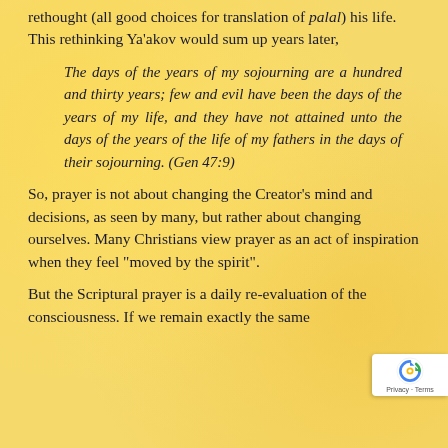rethought (all good choices for translation of palal) his life. This rethinking Ya'akov would sum up years later,
The days of the years of my sojourning are a hundred and thirty years; few and evil have been the days of the years of my life, and they have not attained unto the days of the years of the life of my fathers in the days of their sojourning. (Gen 47:9)
So, prayer is not about changing the Creator’s mind and decisions, as seen by many, but rather about changing ourselves. Many Christians view prayer as an act of inspiration when they feel “moved by the spirit”.
But the Scriptural prayer is a daily re-evaluation of the consciousness. If we remain exactly the same...